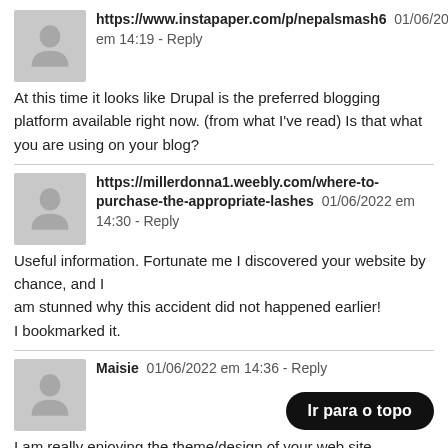https://www.instapaper.com/p/nepalsmash6  01/06/2022 em 14:19 - Reply
At this time it looks like Drupal is the preferred blogging platform available right now. (from what I've read) Is that what you are using on your blog?
https://millerdonna1.weebly.com/where-to-purchase-the-appropriate-lashes  01/06/2022 em 14:30 - Reply
Useful information. Fortunate me I discovered your website by chance, and I am stunned why this accident did not happened earlier! I bookmarked it.
Maisie  01/06/2022 em 14:36 - Reply
I am really enjoying the theme/design of your web site. Do you ever run into any web browser problems?
A handful of my blog readers have complained about my blog not
Ir para o topo